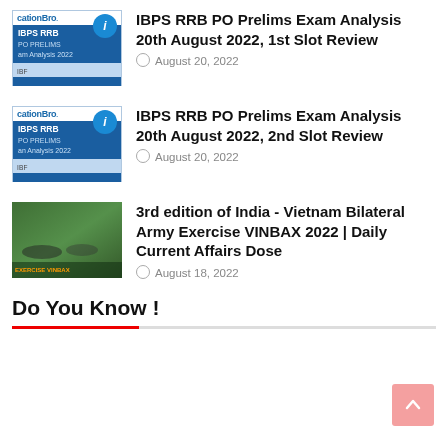IBPS RRB PO Prelims Exam Analysis 20th August 2022, 1st Slot Review — August 20, 2022
IBPS RRB PO Prelims Exam Analysis 20th August 2022, 2nd Slot Review — August 20, 2022
3rd edition of India - Vietnam Bilateral Army Exercise VINBAX 2022 | Daily Current Affairs Dose — August 18, 2022
Do You Know !